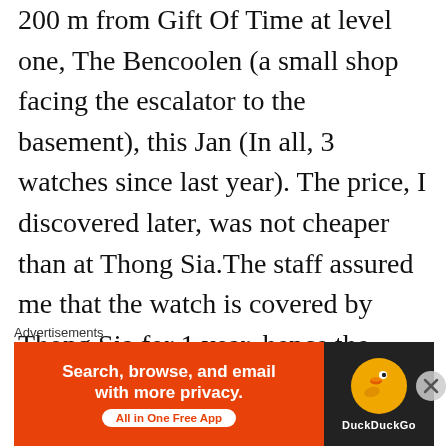200 m from Gift Of Time at level one, The Bencoolen (a small shop facing the escalator to the basement), this Jan (In all, 3 watches since last year). The price, I discovered later, was not cheaper than at Thong Sia.The staff assured me that the watch is covered by Thong Sia for 1 year, hence the price. But this is not my point. When the watch started to fog even in an SBS Transit bus in April I got worried. When I send it in for a check up at Thong Sia, I was immediately refused. Reason? I shocked that it was a parallel imported unit! So at that dark moment I realised that all these while I've been
Advertisements
[Figure (other): DuckDuckGo advertisement banner with orange left section reading 'Search, browse, and email with more privacy. All in One Free App' and dark right section with DuckDuckGo duck logo and brand name]